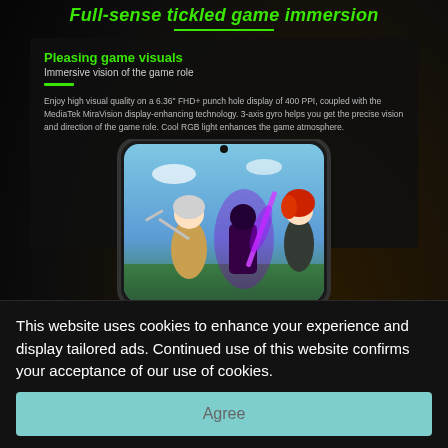Full-sense tickled game immersion
Pleasing game visuals
Immersive vision of the game role
Enjoy high visual quality on a 6.36" FHD+ punch hole display of 400 PPI, coupled with the MediaTek MiraVision display-enhancing technology. 3-axis gyro helps you get the precise vision and direction of the game role. Cool RGB light enhances the game atmosphere.
[Figure (photo): Smartphone displaying anime game characters - a blue-haired warrior and a red-haired character, with a purple-sword-wielding dark character in the foreground]
Cool RGB light
Tough CORNING®
This website uses cookies to enhance your experience and display tailored ads. Continued use of this website confirms your acceptance of our use of cookies.
Agree